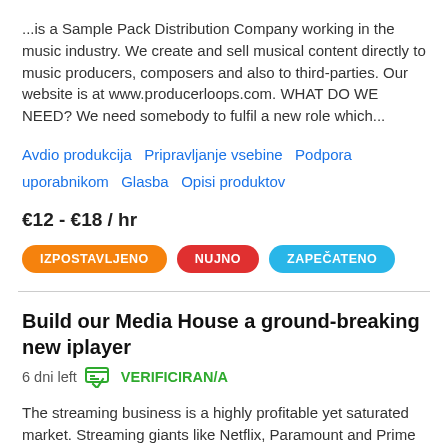...is a Sample Pack Distribution Company working in the music industry. We create and sell musical content directly to music producers, composers and also to third-parties. Our website is at www.producerloops.com. WHAT DO WE NEED? We need somebody to fulfil a new role which...
Avdio produkcija   Pripravljanje vsebine   Podpora uporabnikom   Glasba   Opisi produktov
€12 - €18 / hr
IZPOSTAVLJENO   NUJNO   ZAPEČATENO
Build our Media House a ground-breaking new iplayer
6 dni left   VERIFICIRAN/A
The streaming business is a highly profitable yet saturated market. Streaming giants like Netflix, Paramount and Prime are established industry leaders making it almost impossible for anyone new to stand out from the crowd. We said almost. We are seeking an extremely talented...